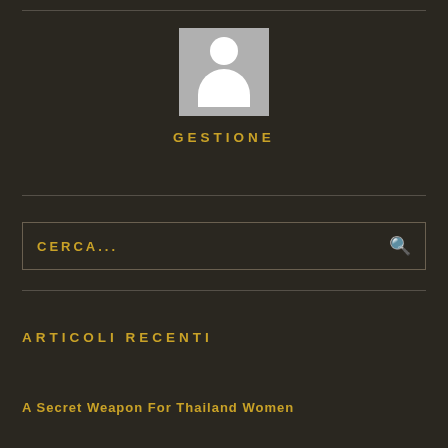[Figure (illustration): Generic user avatar placeholder image — grey rectangle with white head circle and white body silhouette]
GESTIONE
CERCA...
ARTICOLI RECENTI
A Secret Weapon For Thailand Women